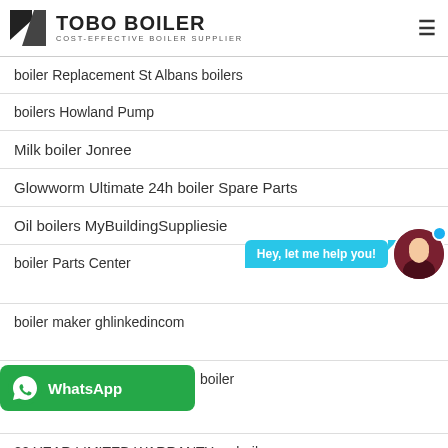TOBO BOILER — COST-EFFECTIVE BOILER SUPPLIER
boiler Replacement St Albans boilers
boilers Howland Pump
Milk boiler Jonree
Glowworm Ultimate 24h boiler Spare Parts
Oil boilers MyBuildingSuppliesie
boiler Parts Center
boiler maker ghlinkedincom
boiler
20 YEAR LIMITED WARRANTY ez boilerscom